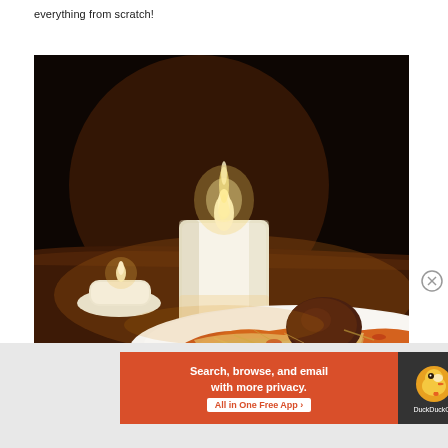everything from scratch!
[Figure (photo): A romantic dinner scene showing a lit white candle and a smaller tea light candle on a dark wooden table, with a plate of spaghetti and meatballs topped with shredded cheese in the foreground, all lit by warm candlelight against a dark background.]
Advertisements
[Figure (other): DuckDuckGo advertisement banner: orange background with white text 'Search, browse, and email with more privacy. All in One Free App' with the DuckDuckGo duck logo on a dark panel on the right.]